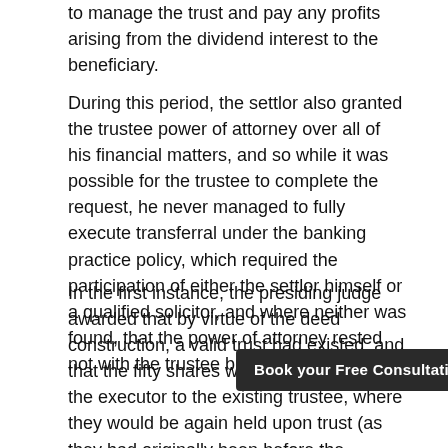to manage the trust and pay any profits arising from the dividend interest to the beneficiary.
During this period, the settlor also granted the trustee power of attorney over all of his financial matters, and so while it was possible for the trustee to complete the request, he never managed to fully execute transferral under the banking practice policy, which required the participation of either the settlor himself or a qualified solicitor, and where neither was found, that the power of attorney rested not with the trustee but the bank.
In the first instance, the presiding judge awarded that by virtue of the deed construction, a valid trust had existed, and that the fifty shares were to be reissued by the executor to the existing trustee, where they would be again held upon trust (as they had originally been before the settlor's death).